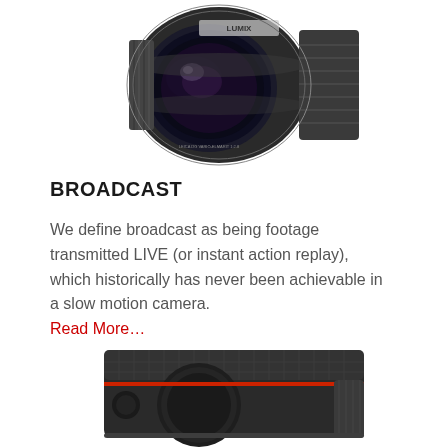[Figure (photo): Close-up photo of a Panasonic LUMIX camera lens module with black metal body and ribbed grip, viewed from a slight angle showing the glass element and side heat-sink fins.]
BROADCAST
We define broadcast as being footage transmitted LIVE (or instant action replay), which historically has never been achievable in a slow motion camera. Read More…
[Figure (photo): Close-up photo of a compact black camera body with textured top surface and ribbed grip, viewed from an angle showing the lens mount area with a red accent stripe.]